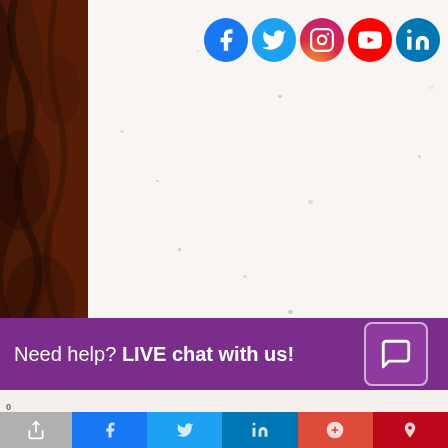[Figure (photo): Dark brown wood or leather texture panel on the left side of the page]
[Figure (photo): White/cream speckled paper surface occupying the main area of the page]
[Figure (infographic): Row of five social media icons (Facebook, Twitter, Instagram, YouTube, LinkedIn) in colored circles at the top right]
Need help? LIVE chat with us!
[Figure (infographic): Purple banner at the bottom with text 'Need help? LIVE chat with us!' and a chat icon button]
[Figure (infographic): Social share bar at the very bottom with share icons for Facebook, Twitter, LinkedIn, Google+, Pinterest and a SHARES label]